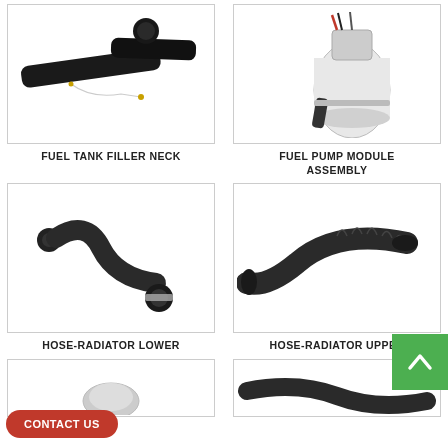[Figure (photo): Fuel tank filler neck - black curved metal tube with wire]
FUEL TANK FILLER NECK
[Figure (photo): Fuel pump module assembly - white cylindrical unit with wiring and connectors]
FUEL PUMP MODULE ASSEMBLY
[Figure (photo): Hose-radiator lower - black curved rubber hose with connector ends]
HOSE-RADIATOR LOWER
[Figure (photo): Hose-radiator upper - black curved ribbed rubber hose]
HOSE-RADIATOR UPPER
[Figure (photo): Partially visible auto part at bottom left]
[Figure (photo): Partially visible auto part at bottom right]